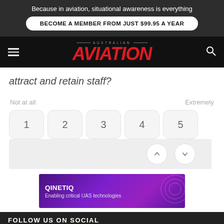Because in aviation, situational awareness is everything
BECOME A MEMBER FROM JUST $99.95 A YEAR
AUSTRALIAN AVIATION
attract and retain staff?
Not at all    Extremely
1  2  3  4  5
[Figure (other): QinetiQ advertisement banner: 'Enabling critical UAS technologies']
FOLLOW US ON SOCIAL